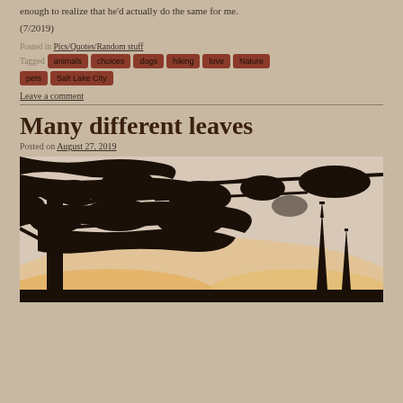enough to realize that he'd actually do the same for me.
(7/2019)
Posted in Pics/Quotes/Random stuff
Tagged animals choices dogs hiking love Nature pets Salt Lake City
Leave a comment
Many different leaves
Posted on August 27, 2019
[Figure (photo): Silhouette of tree branches with leaves against a light sky, with church spires visible in the background at dusk or dawn.]